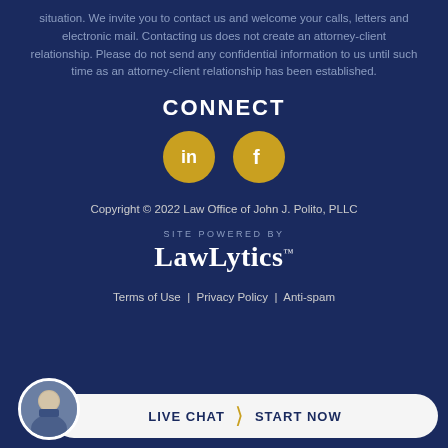situation. We invite you to contact us and welcome your calls, letters and electronic mail. Contacting us does not create an attorney-client relationship. Please do not send any confidential information to us until such time as an attorney-client relationship has been established.
CONNECT
[Figure (illustration): Two gold circular social media icons: LinkedIn (in) and Facebook (f)]
Copyright © 2022 Law Office of John J. Polito, PLLC
[Figure (logo): LawLytics logo with 'SITE POWERED BY' label above]
Terms of Use | Privacy Policy | Anti-spam
[Figure (illustration): Live chat bar with attorney photo and 'LIVE CHAT > START NOW' button]